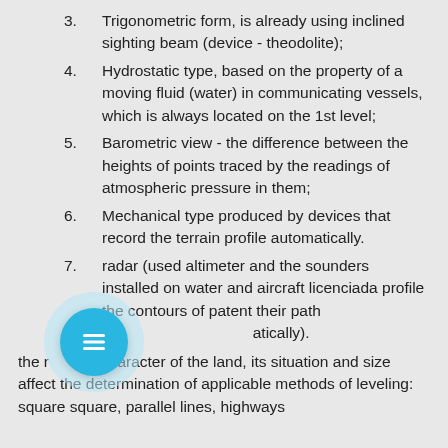3. Trigonometric form, is already using inclined sighting beam (device - theodolite);
4. Hydrostatic type, based on the property of a moving fluid (water) in communicating vessels, which is always located on the 1st level;
5. Barometric view - the difference between the heights of points traced by the readings of atmospheric pressure in them;
6. Mechanical type produced by devices that record the terrain profile automatically.
7. radar (used altimeter and the sounders installed on water and aircraft licenciada profile the contours of patent their path automatically).
the relief character of the land, its situation and size affect the determination of applicable methods of leveling: square square, parallel lines, highways